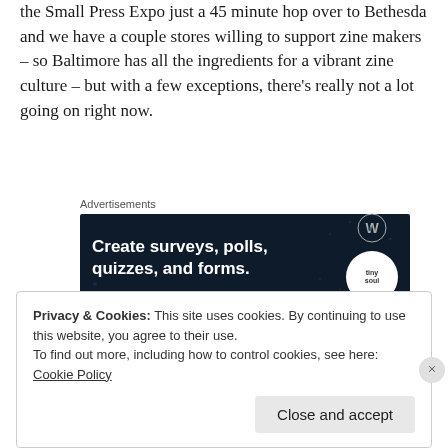the Small Press Expo just a 45 minute hop over to Bethesda and we have a couple stores willing to support zine makers – so Baltimore has all the ingredients for a vibrant zine culture – but with a few exceptions, there's really not a lot going on right now.
Advertisements
[Figure (other): Advertisement banner with dark navy background showing text 'Create surveys, polls, quizzes, and forms.' with WordPress logo and a circular badge on the right side.]
Continue reading →
Privacy & Cookies: This site uses cookies. By continuing to use this website, you agree to their use.
To find out more, including how to control cookies, see here: Cookie Policy
Close and accept